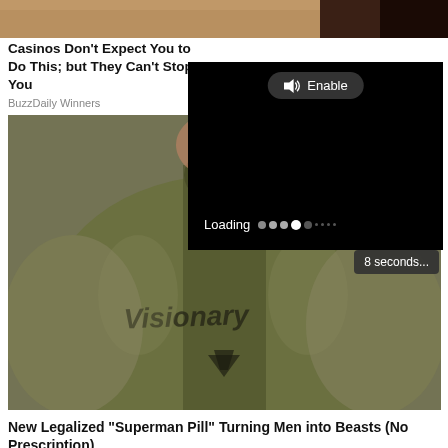[Figure (photo): Top cropped image showing dark/brown background, partial photo]
Casinos Don't Expect You to Do This; but They Can't Stop You
BuzzDaily Winners
[Figure (screenshot): Video player overlay showing Enable audio button, Loading progress dots, and 8 seconds countdown badge on black background]
[Figure (photo): Muscular man wearing olive green tight t-shirt with 'Visionary' text and downward arrow logo]
New Legalized "Superman Pill" Turning Men into Beasts (No Prescription)